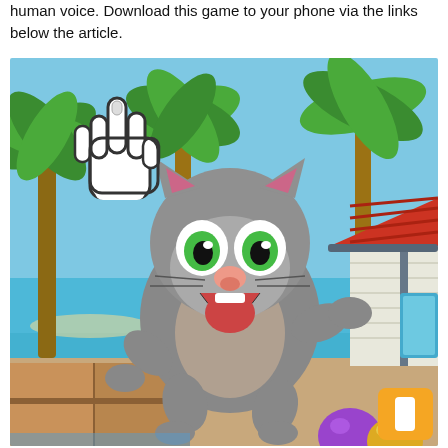human voice. Download this game to your phone via the links below the article.
[Figure (illustration): Screenshot from the mobile game 'My Talking Tom' or similar, showing a cartoon gray cat character jumping/leaping with a surprised open-mouth expression, green eyes, and a pink nose. A large white cartoon hand cursor points down at the cat from the upper left. The background shows a tropical beach scene with palm trees on the left and a white house with a red tiled roof on the right. The lower area shows a wooden fence and colorful toy balls (purple/gold). An orange square UI button with a white rectangle icon appears in the lower right corner.]